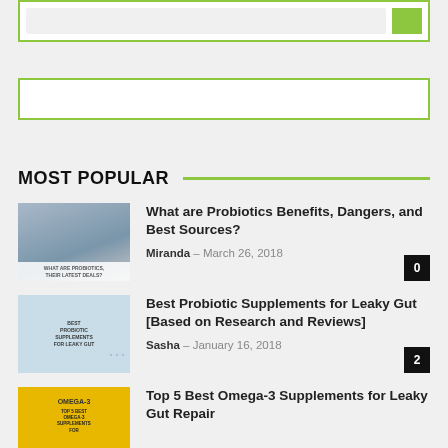MOST POPULAR
[Figure (photo): Hands holding probiotic pills with text overlay about probiotics]
What are Probiotics Benefits, Dangers, and Best Sources?
Miranda – March 26, 2018
[Figure (photo): Best Probiotic Supplements for Leaky Gut promotional image with capsules]
Best Probiotic Supplements for Leaky Gut [Based on Research and Reviews]
Sasha – January 16, 2018
[Figure (photo): Top 5 Best Omega-3 Supplements for Leaky Gut Repair promotional image]
Top 5 Best Omega-3 Supplements for Leaky Gut Repair